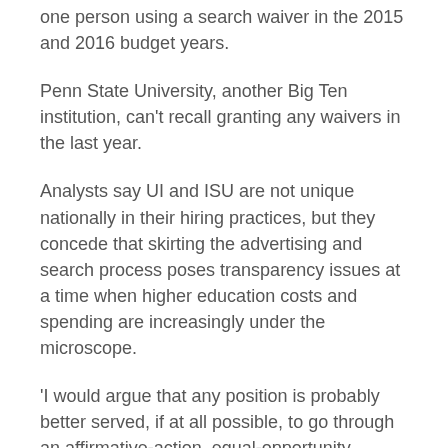one person using a search waiver in the 2015 and 2016 budget years.
Penn State University, another Big Ten institution, can't recall granting any waivers in the last year.
Analysts say UI and ISU are not unique nationally in their hiring practices, but they concede that skirting the advertising and search process poses transparency issues at a time when higher education costs and spending are increasingly under the microscope.
'I would argue that any position is probably better served, if at all possible, to go through an affirmative-action, equal-opportunity process,' said John Barnshaw, senior higher